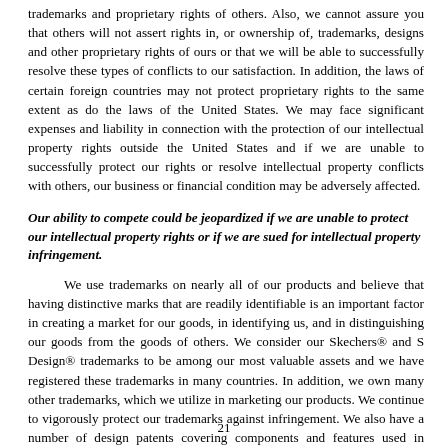trademarks and proprietary rights of others. Also, we cannot assure you that others will not assert rights in, or ownership of, trademarks, designs and other proprietary rights of ours or that we will be able to successfully resolve these types of conflicts to our satisfaction. In addition, the laws of certain foreign countries may not protect proprietary rights to the same extent as do the laws of the United States. We may face significant expenses and liability in connection with the protection of our intellectual property rights outside the United States and if we are unable to successfully protect our rights or resolve intellectual property conflicts with others, our business or financial condition may be adversely affected.
Our ability to compete could be jeopardized if we are unable to protect our intellectual property rights or if we are sued for intellectual property infringement.
We use trademarks on nearly all of our products and believe that having distinctive marks that are readily identifiable is an important factor in creating a market for our goods, in identifying us, and in distinguishing our goods from the goods of others. We consider our Skechers® and S Design® trademarks to be among our most valuable assets and we have registered these trademarks in many countries. In addition, we own many other trademarks, which we utilize in marketing our products. We continue to vigorously protect our trademarks against infringement. We also have a number of design patents covering components and features used in various shoes. We believe that our success depends primarily upon skills in design, research and development, production and
21